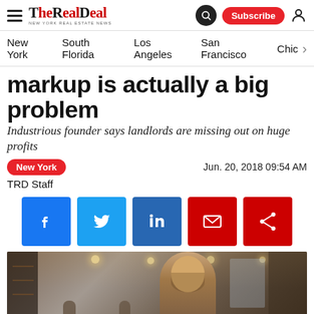THE REAL DEAL — New York Real Estate News
New York  South Florida  Los Angeles  San Francisco  Chic
markup is actually a big problem
Industrious founder says landlords are missing out on huge profits
New York   Jun. 20, 2018 09:54 AM
TRD Staff
[Figure (screenshot): Social sharing buttons: Facebook, Twitter, LinkedIn, Email, Share]
[Figure (photo): Photo of a man smiling in a modern coworking office space with pendant lights and people working in background]